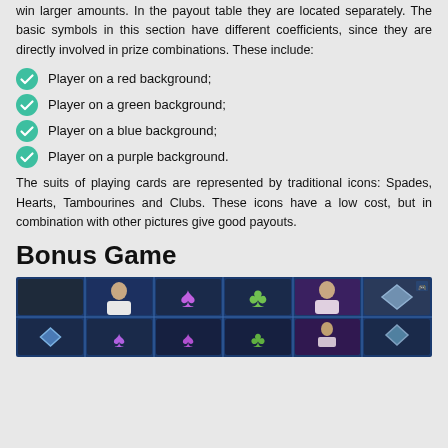win larger amounts. In the payout table they are located separately. The basic symbols in this section have different coefficients, since they are directly involved in prize combinations. These include:
Player on a red background;
Player on a green background;
Player on a blue background;
Player on a purple background.
The suits of playing cards are represented by traditional icons: Spades, Hearts, Tambourines and Clubs. These icons have a low cost, but in combination with other pictures give good payouts.
Bonus Game
[Figure (screenshot): Screenshot of a slot machine bonus game showing a grid of symbols including player portraits on colored backgrounds and card suit symbols (spades, clubs, diamonds) on a dark blue background.]